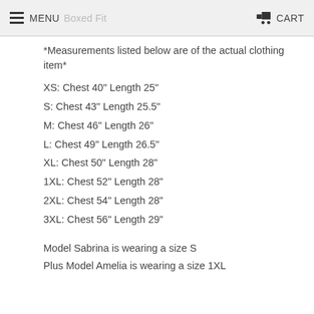MENU  Boxed Fit  CART
*Measurements listed below are of the actual clothing item*
XS: Chest 40" Length 25"
S: Chest 43" Length 25.5"
M: Chest 46" Length 26"
L: Chest 49" Length 26.5"
XL: Chest 50" Length 28"
1XL: Chest 52" Length 28"
2XL: Chest 54" Length 28"
3XL: Chest 56" Length 29"
Model Sabrina is wearing a size S
Plus Model Amelia is wearing a size 1XL